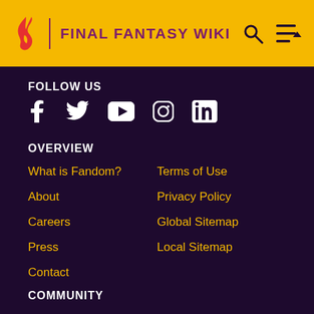FINAL FANTASY WIKI
FOLLOW US
[Figure (illustration): Social media icons: Facebook, Twitter, YouTube, Instagram, LinkedIn]
OVERVIEW
What is Fandom?
Terms of Use
About
Privacy Policy
Careers
Global Sitemap
Press
Local Sitemap
Contact
COMMUNITY